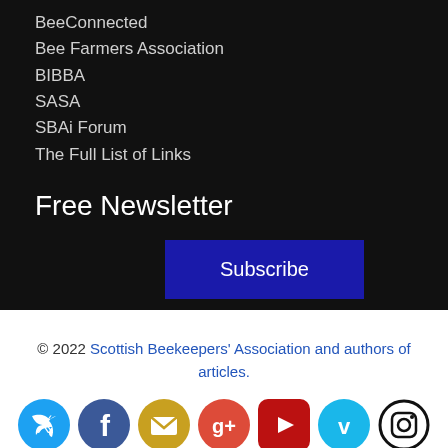BeeConnected
Bee Farmers Association
BIBBA
SASA
SBAi Forum
The Full List of Links
Free Newsletter
Subscribe
© 2022 Scottish Beekeepers' Association and authors of articles.
[Figure (other): Social media icons row: Twitter, Facebook, Email, Google+, YouTube, Vimeo, Instagram]